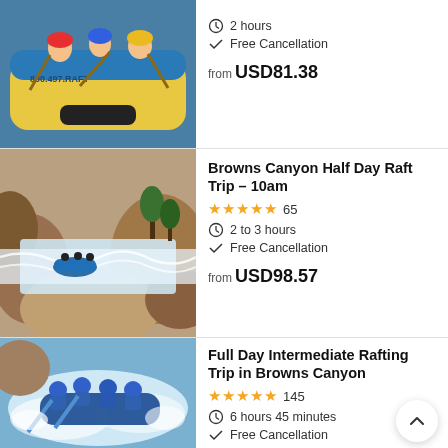[Figure (photo): Rafting group on yellow raft with 800.497.RAFT text]
2 hours
Free Cancellation
from USD81.38
[Figure (photo): Rafting boat in rapids through rocky canyon]
Browns Canyon Half Day Raft Trip – 10am
★★★★★ 65
2 to 3 hours
Free Cancellation
from USD98.57
[Figure (photo): Rafters in blue helmets and life vests in white water rapids]
Full Day Intermediate Rafting Trip in Browns Canyon
★★★★★ 145
6 hours 45 minutes
Free Cancellation